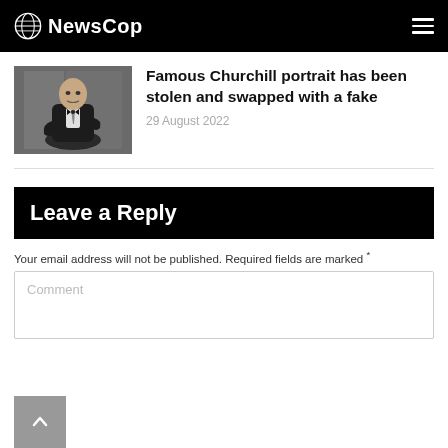NewsCop
[Figure (photo): Black and white photograph of Winston Churchill seated, wearing a suit]
Famous Churchill portrait has been stolen and swapped with a fake
29 August 2022
Leave a Reply
Your email address will not be published. Required fields are marked *
Comment